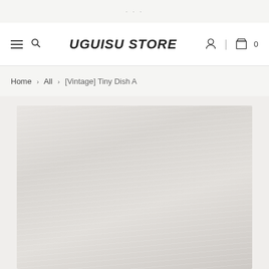...
UGUiSU STORE
Home > All > [Vintage] Tiny Dish A
[Figure (photo): Product photo area showing a light-colored textured surface, likely a wooden background, very pale and washed out]